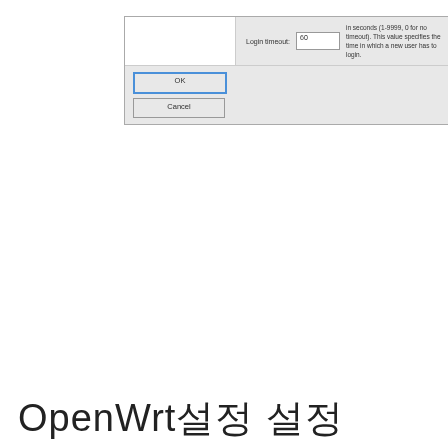[Figure (screenshot): A settings dialog box showing a Login timeout field with value 60, described as 'in seconds (1-9999, 0 for no timeout). This value specifies the time in which a new user has to login.' Below the dialog content are OK and Cancel buttons.]
OpenWrt설정 설정